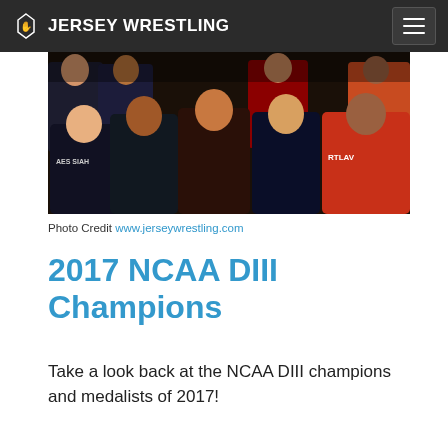JERSEY WRESTLING
[Figure (photo): Group photo of NCAA DIII wrestling champions and medalists, several young men in athletic jackets posed together indoors]
Photo Credit www.jerseywrestling.com
2017 NCAA DIII Champions
Take a look back at the NCAA DIII champions and medalists of 2017!
The University of Wisconsin served